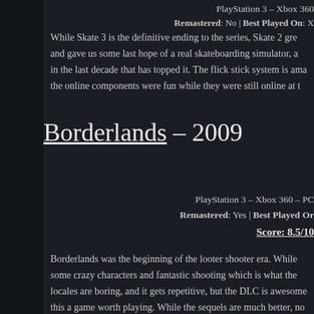PlayStation 3 – Xbox 360
Remastered: No | Best Played On: X
While Skate 3 is the definitive ending to the series, Skate 2 gre and gave us some last hope of a real skateboarding simulator, a in the last decade that has topped it. The flick stick system is ama the online components were fun while they were still online at t
Borderlands – 2009
PlayStation 3 – Xbox 360 – PC
Remastered: Yes | Best Played On
Score: 8.5/10
Borderlands was the beginning of the looter shooter era. While some crazy characters and fantastic shooting which is what the locales are boring, and it gets repetitive, but the DLC is awesome this a game worth playing. While the sequels are much better, no first game made.